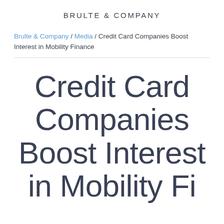BRULTE & COMPANY
Brulte & Company / Media / Credit Card Companies Boost Interest in Mobility Finance
Credit Card Companies Boost Interest in Mobility Finance